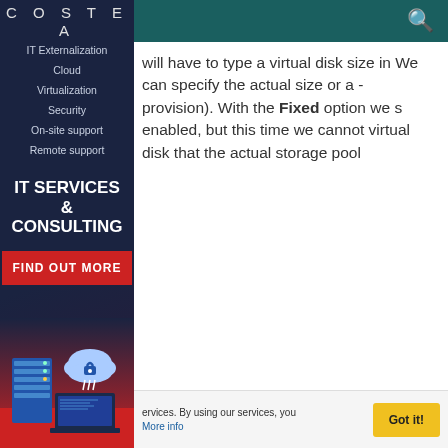[Figure (logo): COSTEA logo text in light gray on dark navy background]
IT Externalization
Cloud
Virtualization
Security
On-site support
Remote support
IT SERVICES & CONSULTING
FIND OUT MORE
[Figure (illustration): IT services illustration with server, cloud, and laptop on red background]
will have to type a virtual disk size in We can specify the actual size or a -provision). With the Fixed option we s enabled, but this time we cannot virtual disk that the actual storage pool
ervices. By using our services, you More info
Got it!